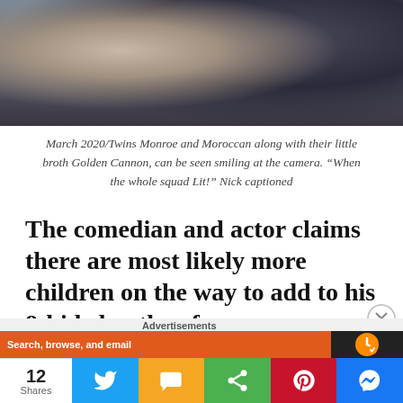[Figure (photo): Photo of twins Monroe and Moroccan along with their little brother Golden Cannon, smiling at the camera]
March 2020/Twins Monroe and Moroccan along with their little broth Golden Cannon, can be seen smiling at the camera. “When the whole squad Lit!” Nick captioned
The comedian and actor claims there are most likely more children on the way to add to his 8-kid clan thus far.
Advertisements
12 Shares